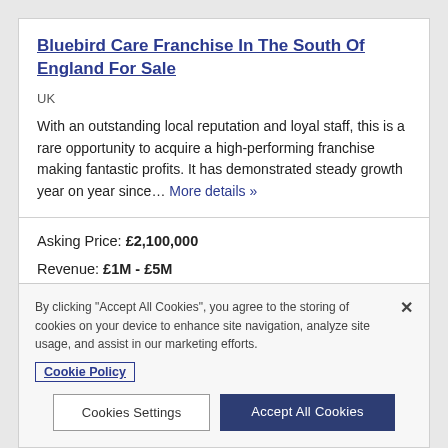Bluebird Care Franchise In The South Of England For Sale
UK
With an outstanding local reputation and loyal staff, this is a rare opportunity to acquire a high-performing franchise making fantastic profits. It has demonstrated steady growth year on year since… More details »
Asking Price: £2,100,000
Revenue: £1M - £5M
Cash Flow: £500K - £2.5M
By clicking "Accept All Cookies", you agree to the storing of cookies on your device to enhance site navigation, analyze site usage, and assist in our marketing efforts.
Cookie Policy
Cookies Settings
Accept All Cookies